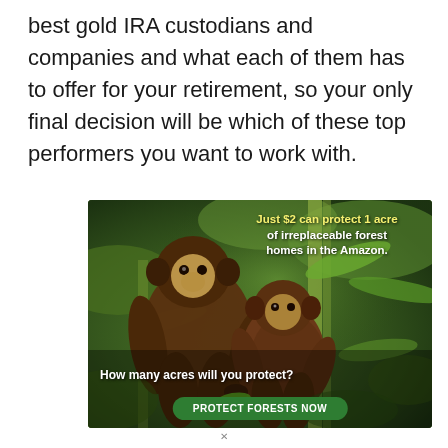best gold IRA custodians and companies and what each of them has to offer for your retirement, so your only final decision will be which of these top performers you want to work with.
[Figure (photo): Advertisement showing two brown monkeys (capuchins) sitting on branches in a lush Amazon forest setting. Top right text in yellow/white reads: 'Just $2 can protect 1 acre of irreplaceable forest homes in the Amazon.' Bottom left white text reads: 'How many acres will you protect?' A green button at the bottom reads: 'PROTECT FORESTS NOW']